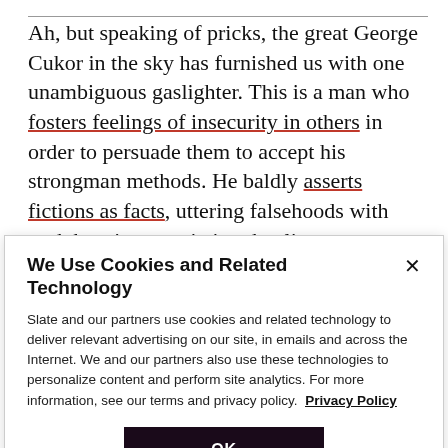Ah, but speaking of pricks, the great George Cukor in the sky has furnished us with one unambiguous gaslighter. This is a man who fosters feelings of insecurity in others in order to persuade them to accept his strongman methods. He baldly asserts fictions as facts, uttering falsehoods with such burning conviction that listeners may doubt the testimony of their senses. He baldly
We Use Cookies and Related Technology
Slate and our partners use cookies and related technology to deliver relevant advertising on our site, in emails and across the Internet. We and our partners also use these technologies to personalize content and perform site analytics. For more information, see our terms and privacy policy. Privacy Policy
OK